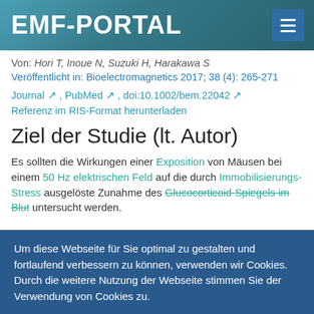EMF-PORTAL
Von: Hori T, Inoue N, Suzuki H, Harakawa S
Veröffentlicht in: Bioelectromagnetics 2017; 38 (4): 265-271
Journal ↗ , PubMed ↗ , doi:10.1002/bem.22042 ↗
Referenz im RIS-Format herunterladen
Ziel der Studie (lt. Autor)
Es sollten die Wirkungen einer Exposition von Mäusen bei einem 50 Hz elektrischen Feld auf die durch Immobilisierungs-Stress ausgelöste Zunahme des Glucocorticoid-Spiegels im Blut untersucht werden.
Um diese Webseite für Sie optimal zu gestalten und fortlaufend verbessern zu können, verwenden wir Cookies. Durch die weitere Nutzung der Webseite stimmen Sie der Verwendung von Cookies zu.